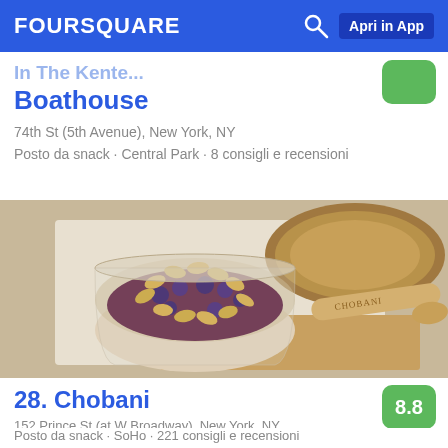FOURSQUARE — Apri in App
Boathouse
74th St (5th Avenue), New York, NY
Posto da snack · Central Park · 8 consigli e recensioni
[Figure (photo): Chobani yogurt cup with peanuts and berry toppings on a wooden tray with a wooden spoon branded CHOBANI]
28. Chobani
152 Prince St (at W Broadway), New York, NY
Posto da snack · SoHo · 221 consigli e recensioni